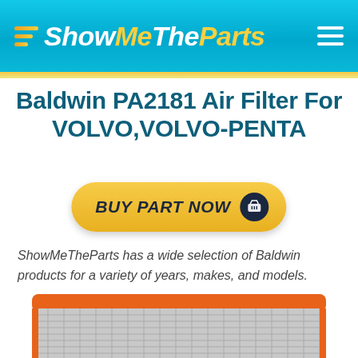ShowMeTheParts
Baldwin PA2181 Air Filter For VOLVO,VOLVO-PENTA
[Figure (other): BUY PART NOW button with shopping basket icon, yellow pill-shaped button with dark navy text]
ShowMeTheParts has a wide selection of Baldwin products for a variety of years, makes, and models.
[Figure (photo): Bottom portion of an orange and silver air filter element visible at the bottom of the page]